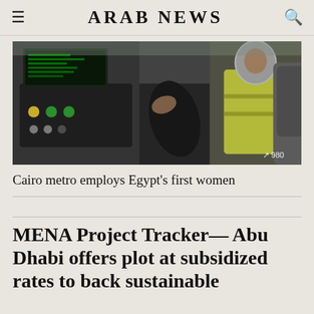ARAB NEWS
[Figure (photo): A woman in a hijab and yellow safety vest operating controls inside a Cairo metro train cab]
Cairo metro employs Egypt's first women
MENA Project Tracker— Abu Dhabi offers plot at subsidized rates to back sustainable